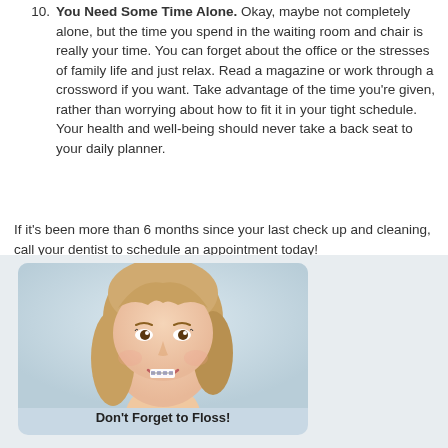10. You Need Some Time Alone. Okay, maybe not completely alone, but the time you spend in the waiting room and chair is really your time. You can forget about the office or the stresses of family life and just relax. Read a magazine or work through a crossword if you want. Take advantage of the time you're given, rather than worrying about how to fit it in your tight schedule. Your health and well-being should never take a back seat to your daily planner.
If it's been more than 6 months since your last check up and cleaning, call your dentist to schedule an appointment today!
«« Back to Dental Information Center
[Figure (photo): Photo of a young smiling woman with braces and blonde hair, with caption 'Don't Forget to Floss!']